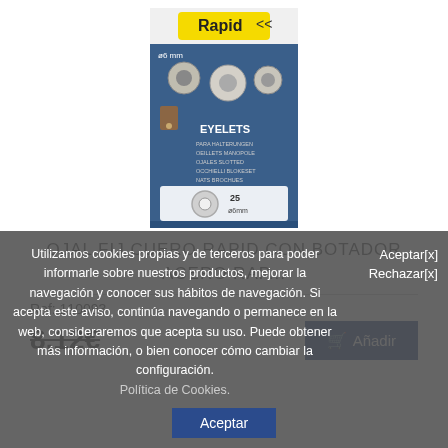[Figure (photo): Rapid brand eyelets product package, blue packaging showing metal eyelets, labeled EYELETS, ø6mm, 25 pieces]
OJAL FIJ CUERO RAPID CON BOTADOR ACERO RAP...
Ref: 110093
8,12€
Añadir
Utilizamos cookies propias y de terceros para poder informarle sobre nuestros productos, mejorar la navegación y conocer sus hábitos de navegación. Si acepta este aviso, continúa navegando o permanece en la web, consideraremos que acepta su uso. Puede obtener más información, o bien conocer cómo cambiar la configuración.
Política de Cookies.
Aceptar[x]
Rechazar[x]